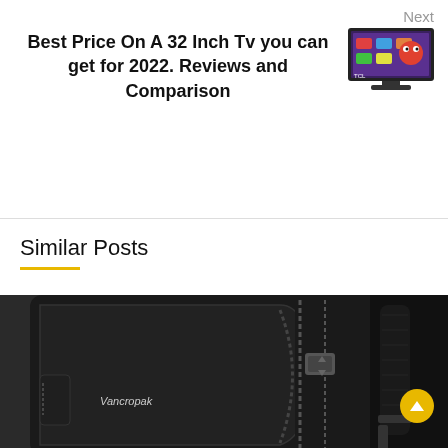Next
Best Price On A 32 Inch Tv you can get for 2022. Reviews and Comparison
[Figure (photo): Small thumbnail image of a 32-inch TCL television on a white background]
Similar Posts
[Figure (photo): Close-up photo of a black Vancropak backpack showing zipper compartments, straps, and buckle hardware]